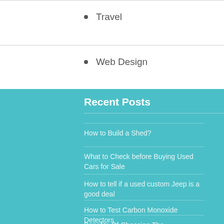Travel
Web Design
Recent Posts
How to Build a Shed?
What to Check before Buying Used Cars for Sale
How to tell if a used custom Jeep is a good deal
How to Test Carbon Monoxide Detectors
Benefits Of Choosing The Echocardiogram In Denville, Nj